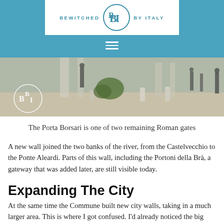BEWITCHED BBI BY ITALY
[Figure (photo): Photo of Porta Borsari, a Roman gate in Verona, showing stone columns and people walking. A BBI logo watermark is visible in the lower left corner.]
The Porta Borsari is one of two remaining Roman gates
A new wall joined the two banks of the river, from the Castelvecchio to the Ponte Aleardi. Parts of this wall, including the Portoni della Brà, a gateway that was added later, are still visible today.
Expanding The City
At the same time the Commune built new city walls, taking in a much larger area. This is where I got confused. I'd already noticed the big